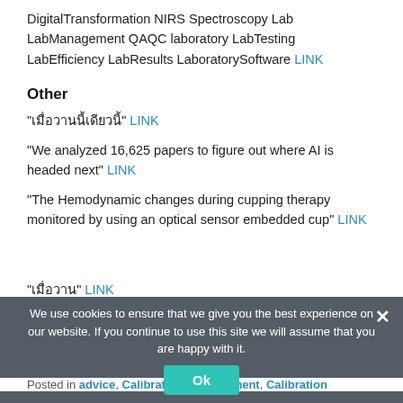DigitalTransformation NIRS Spectroscopy Lab LabManagement QAQC laboratory LabTesting LabEfficiency LabResults LaboratorySoftware LINK
Other
“เมื่อวานนี้เดียวนี้” LINK
“We analyzed 16,625 papers to figure out where AI is headed next” LINK
“The Hemodynamic changes during cupping therapy monitored by using an optical sensor embedded cup” LINK
“เมื่อวาน” LINK
We use cookies to ensure that we give you the best experience on our website. If you continue to use this site we will assume that you are happy with it. Ok
Posted in advice, Calibration Development, Calibration